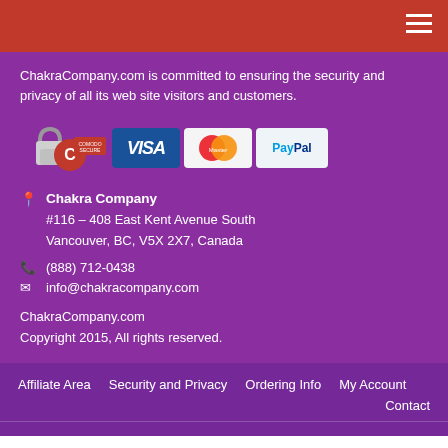[Figure (logo): Red header bar with hamburger menu icon (three white horizontal lines) in top right corner]
ChakraCompany.com is committed to ensuring the security and privacy of all its web site visitors and customers.
[Figure (logo): Security badges: Comodo Secure padlock logo, VISA badge, MasterCard badge, PayPal badge]
Chakra Company
#116 – 408 East Kent Avenue South
Vancouver, BC, V5X 2X7, Canada
(888) 712-0438
info@chakracompany.com
ChakraCompany.com
Copyright 2015, All rights reserved.
Affiliate Area   Security and Privacy   Ordering Info   My Account   Contact